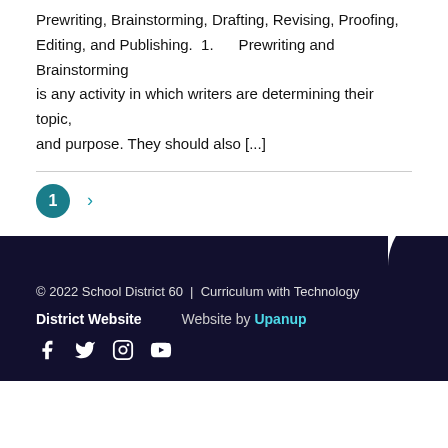Prewriting, Brainstorming, Drafting, Revising, Proofing, Editing, and Publishing. 1. Prewriting and Brainstorming is any activity in which writers are determining their topic, and purpose. They should also [...]
© 2022 School District 60 | Curriculum with Technology
District Website   Website by Upanup